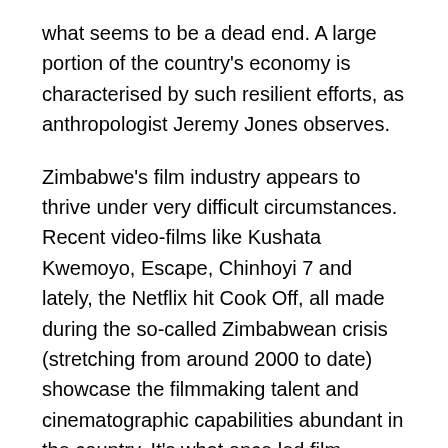what seems to be a dead end. A large portion of the country's economy is characterised by such resilient efforts, as anthropologist Jeremy Jones observes.
Zimbabwe's film industry appears to thrive under very difficult circumstances. Recent video-films like Kushata Kwemoyo, Escape, Chinhoyi 7 and lately, the Netflix hit Cook Off, all made during the so-called Zimbabwean crisis (stretching from around 2000 to date) showcase the filmmaking talent and cinematographic capabilities abundant in the country. It's what once led film scholar Frank Ukadike, in his book Black African Cinema, to remark that Zimbabwe was Africa's Hollywood.
Ukadike made his remark more than 20 years ago. It was based on the film-friendliness that Zimbabwe exhibited back then. At the time, many Hollywood companies, including the